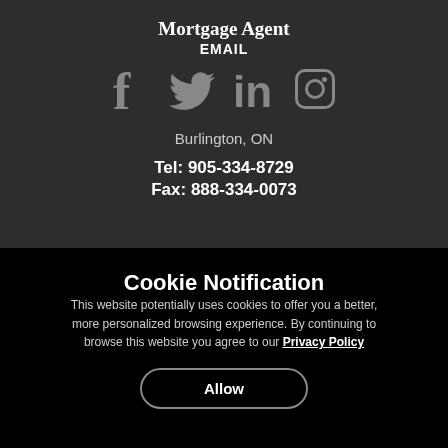Mortgage Agent
EMAIL
[Figure (illustration): Social media icons: Facebook (f), Twitter (bird), LinkedIn (in), Instagram (camera/rounded square)]
Burlington, ON
Tel: 905-334-8729
Fax: 888-334-0073
Cookie Notification
This website potentially uses cookies to offer you a better, more personalized browsing experience. By continuing to browse this website you agree to our Privacy Policy
Allow